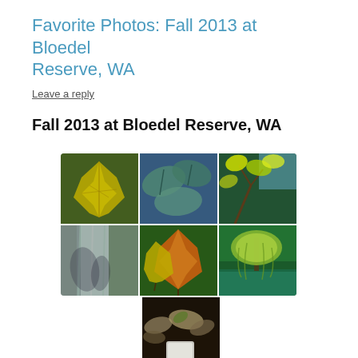Favorite Photos: Fall 2013 at Bloedel Reserve, WA
Leave a reply
Fall 2013 at Bloedel Reserve, WA
[Figure (photo): A 3x2 grid plus one bottom-center photo collage showing fall foliage at Bloedel Reserve, WA. Top row: yellow maple leaf close-up, blue-green large leaves, yellow-green leaves on branches. Middle row: blurred tree bark/shadows, orange and yellow autumn leaves, weeping willow tree over pond. Bottom center: fallen leaves on dark soil with a white object.]